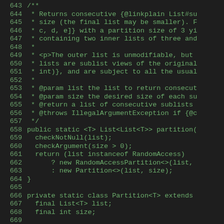Source code listing lines 643-671, Java code showing partition method implementation with Javadoc comments